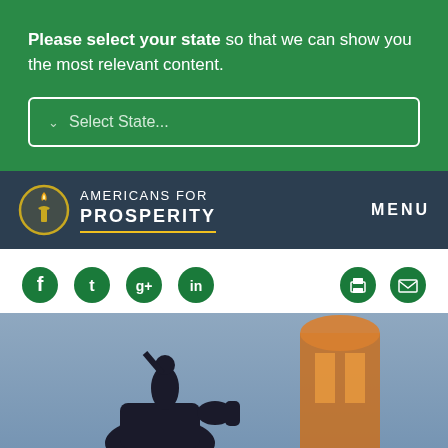Please select your state so that we can show you the most relevant content.
Select State...
[Figure (logo): Americans for Prosperity logo with torch icon and organization name, dark navigation bar with MENU text on right]
[Figure (screenshot): Social media icons: Facebook, Twitter, Google+, LinkedIn on left; print and email icons on right]
[Figure (photo): Photo of a horse rider statue silhouette against dusk sky with illuminated building tower/cupola in background]